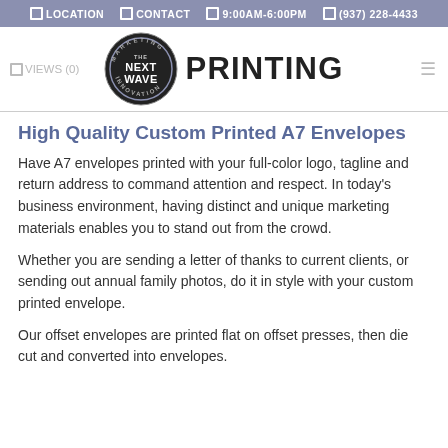☐ LOCATION  ☐ CONTACT  ☐ 9:00AM-6:00PM  ☐ (937) 228-4433
[Figure (logo): The Next Wave Marketing Innovation circular logo badge next to the word PRINTING in bold]
High Quality Custom Printed A7 Envelopes
Have A7 envelopes printed with your full-color logo, tagline and return address to command attention and respect. In today's business environment, having distinct and unique marketing materials enables you to stand out from the crowd.
Whether you are sending a letter of thanks to current clients, or sending out annual family photos, do it in style with your custom printed envelope.
Our offset envelopes are printed flat on offset presses, then die cut and converted into envelopes.